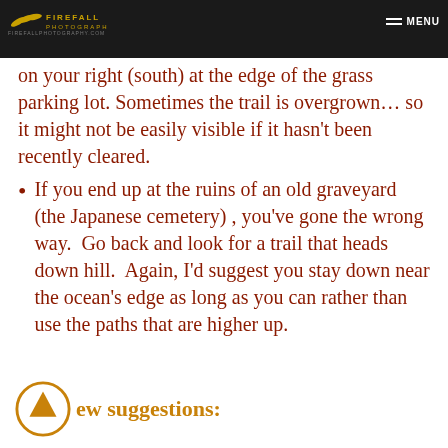FIREFALL PHOTOGRAPHY — firefallphotography.com — MENU
on your right (south) at the edge of the grass parking lot. Sometimes the trail is overgrown… so it might not be easily visible if it hasn't been recently cleared.
If you end up at the ruins of an old graveyard (the Japanese cemetery) , you've gone the wrong way.  Go back and look for a trail that heads down hill.  Again, I'd suggest you stay down near the ocean's edge as long as you can rather than use the paths that are higher up.
ew suggestions: